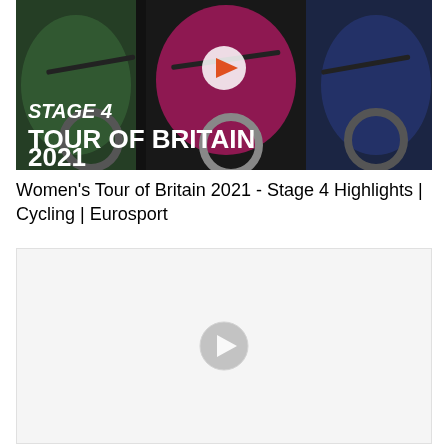[Figure (screenshot): Video thumbnail for Women's Tour of Britain 2021 Stage 4. Shows cyclists racing, with a play button overlay. Text on image reads 'STAGE 4 / TOUR OF BRITAIN 2021' in bold white letters on dark background.]
Women's Tour of Britain 2021 - Stage 4 Highlights | Cycling | Eurosport
[Figure (screenshot): A second video player placeholder with a light grey background and a semi-transparent play button icon in the center.]